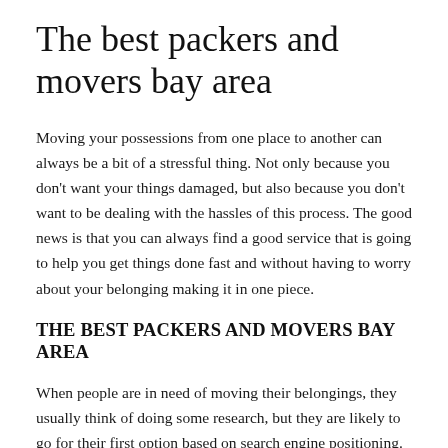The best packers and movers bay area
Moving your possessions from one place to another can always be a bit of a stressful thing. Not only because you don't want your things damaged, but also because you don't want to be dealing with the hassles of this process. The good news is that you can always find a good service that is going to help you get things done fast and without having to worry about your belonging making it in one piece.
The best packers and movers bay area
When people are in need of moving their belongings, they usually think of doing some research, but they are likely to go for their first option based on search engine positioning. The